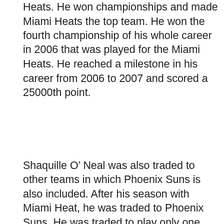Heats. He won championships and made Miami Heats the top team. He won the fourth championship of his whole career in 2006 that was played for the Miami Heats. He reached a milestone in his career from 2006 to 2007 and scored a 25000th point.
Shaquille O' Neal was also traded to other teams in which Phoenix Suns is also included. After his season with Miami Heat, he was traded to Phoenix Suns. He was traded to play only one season but his earning could not be stopped, and in 2009 he earned the name the NBA All-Star Game's co-MVP. Later on, he decided to retire from the National Basketball Association, and he announced he was retiring plan on June 1, 2011.
Music Career
This website uses cookies to ensure you get the best experience on our website. Learn more
Got it
s also a rapper along with the best player of the NBA. He did not give his music career up even when he was playing in the NBA.